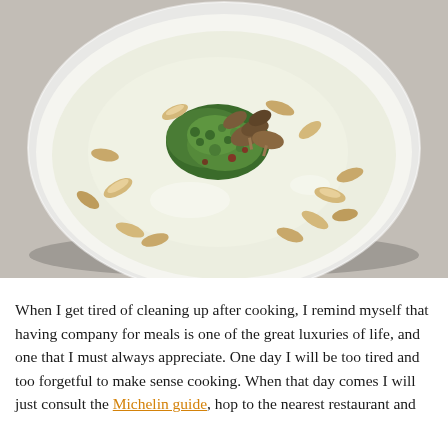[Figure (photo): Top-down view of a white bowl containing a cream-colored soup, garnished with chopped fresh herbs (parsley), sautéed mushrooms, and sliced almonds, placed on a light gray surface.]
When I get tired of cleaning up after cooking, I remind myself that having company for meals is one of the great luxuries of life, and one that I must always appreciate. One day I will be too tired and too forgetful to make sense cooking. When that day comes I will just consult the Michelin guide, hop to the nearest restaurant and